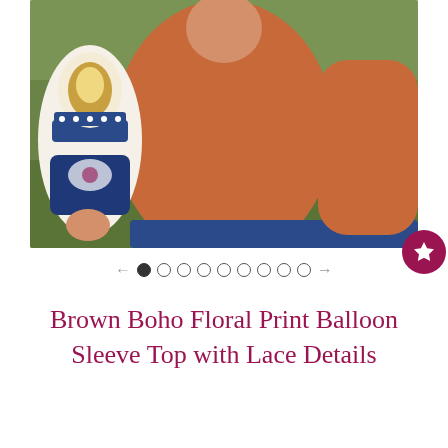[Figure (photo): Woman wearing an orange/rust colored top with boho floral print balloon sleeves in navy, white, gold, and brown. She is standing outdoors near a white wooden fence. Wearing dark blue jeans. A ring is visible on her hand.]
Brown Boho Floral Print Balloon Sleeve Top with Lace Details